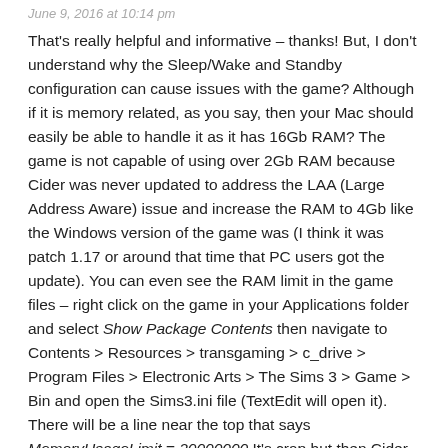June 9, 2016 at 10:14 pm
That's really helpful and informative – thanks! But, I don't understand why the Sleep/Wake and Standby configuration can cause issues with the game? Although if it is memory related, as you say, then your Mac should easily be able to handle it as it has 16Gb RAM? The game is not capable of using over 2Gb RAM because Cider was never updated to address the LAA (Large Address Aware) issue and increase the RAM to 4Gb like the Windows version of the game was (I think it was patch 1.17 or around that time that PC users got the update). You can even see the RAM limit in the game files – right click on the game in your Applications folder and select Show Package Contents then navigate to Contents > Resources > transgaming > c_drive > Program Files > Electronic Arts > The Sims 3 > Game > Bin and open the Sims3.ini file (TextEdit will open it). There will be a line near the top that says MemoryUsageLimit = 20000000 It's crap but then Cider was evil and EA should never have used it, we really got a raw deal 😐